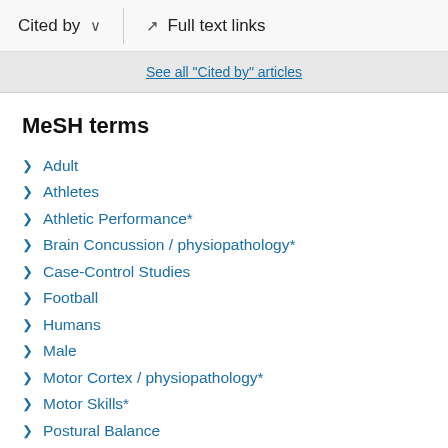Cited by   ∨   Full text links
See all "Cited by" articles
MeSH terms
Adult
Athletes
Athletic Performance*
Brain Concussion / physiopathology*
Case-Control Studies
Football
Humans
Male
Motor Cortex / physiopathology*
Motor Skills*
Postural Balance
Transcranial Magnetic Stimulation